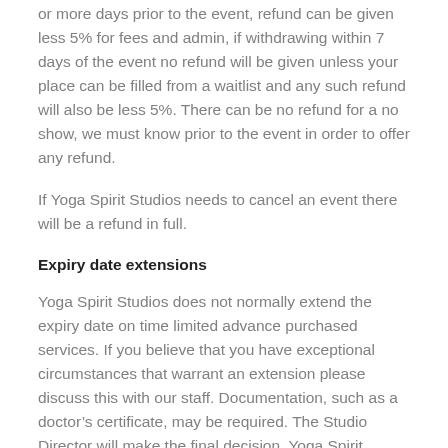or more days prior to the event, refund can be given less 5% for fees and admin, if withdrawing within 7 days of the event no refund will be given unless your place can be filled from a waitlist and any such refund will also be less 5%. There can be no refund for a no show, we must know prior to the event in order to offer any refund.
If Yoga Spirit Studios needs to cancel an event there will be a refund in full.
Expiry date extensions
Yoga Spirit Studios does not normally extend the expiry date on time limited advance purchased services. If you believe that you have exceptional circumstances that warrant an extension please discuss this with our staff. Documentation, such as a doctor’s certificate, may be required. The Studio Director will make the final decision. Yoga Spirit Studios may offer a fee to extend an expired pass or convert it to a no-expiry pass.
Gift vouchers